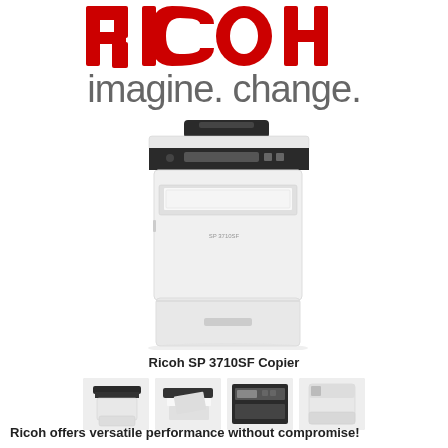[Figure (logo): RICOH logo in red bold letters]
imagine. change.
[Figure (photo): Ricoh SP 3710SF Copier - white multifunction printer with document feeder on top]
Ricoh SP 3710SF Copier
[Figure (photo): Four thumbnail images showing different views of Ricoh printers]
Ricoh offers versatile performance without compromise!